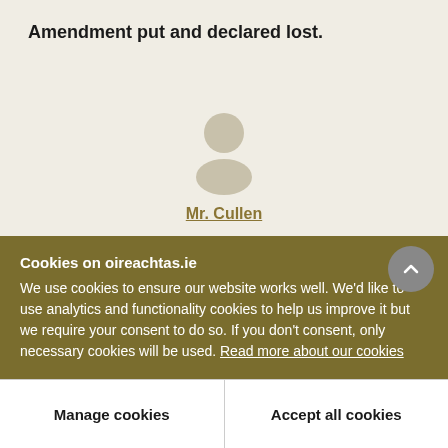Amendment put and declared lost.
[Figure (illustration): Generic person/avatar silhouette icon with circular head and shoulders shape in beige/gray color]
Mr. Cullen
I move amendment No. 5:
In page 13, line 10, after "it" to insert "(other than an
Cookies on oireachtas.ie
We use cookies to ensure our website works well. We'd like to use analytics and functionality cookies to help us improve it but we require your consent to do so. If you don't consent, only necessary cookies will be used. Read more about our cookies
Manage cookies
Accept all cookies